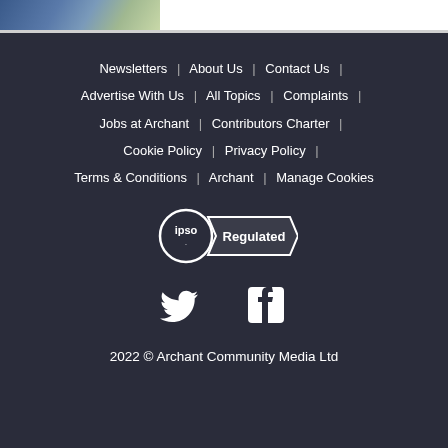[Figure (photo): Partial photo of a person in blue clothing at top of page]
Newsletters | About Us | Contact Us | Advertise With Us | All Topics | Complaints | Jobs at Archant | Contributors Charter | Cookie Policy | Privacy Policy | Terms & Conditions | Archant | Manage Cookies
[Figure (logo): IPSO Regulated badge]
[Figure (logo): Twitter and Facebook social media icons]
2022 © Archant Community Media Ltd